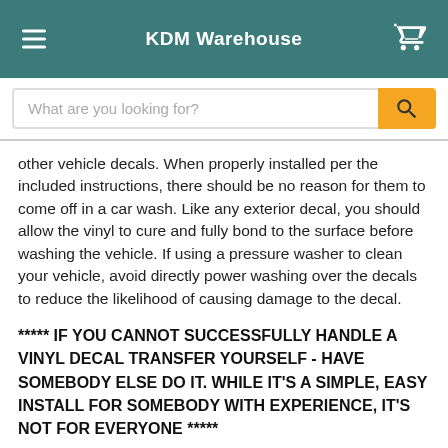KDM Warehouse
other vehicle decals. When properly installed per the included instructions, there should be no reason for them to come off in a car wash. Like any exterior decal, you should allow the vinyl to cure and fully bond to the surface before washing the vehicle. If using a pressure washer to clean your vehicle, avoid directly power washing over the decals to reduce the likelihood of causing damage to the decal.
***** IF YOU CANNOT SUCCESSFULLY HANDLE A VINYL DECAL TRANSFER YOURSELF - HAVE SOMEBODY ELSE DO IT. WHILE IT'S A SIMPLE, EASY INSTALL FOR SOMEBODY WITH EXPERIENCE, IT'S NOT FOR EVERYONE *****
[Figure (photo): Dark image of a Kia car front grille/emblem with a blue circular logo on the left]